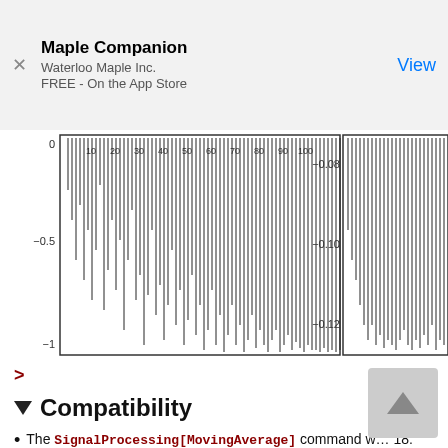Maple Companion
Waterloo Maple Inc.
FREE - On the App Store
View
[Figure (continuous-plot): Two side-by-side stem plots (discrete vertical bar charts) showing signal values. Left plot: y-axis from -1 to 0, x-axis from 10 to 100, with many downward-pointing stems of varying lengths. Right plot: y-axis from -0.08 to -0.12, x-axis partially visible, showing stems of similar pattern.]
>
▼ Compatibility
The SignalProcessing[MovingAverage] command w... 18.
For more information on Maple 18 changes, see Upda...